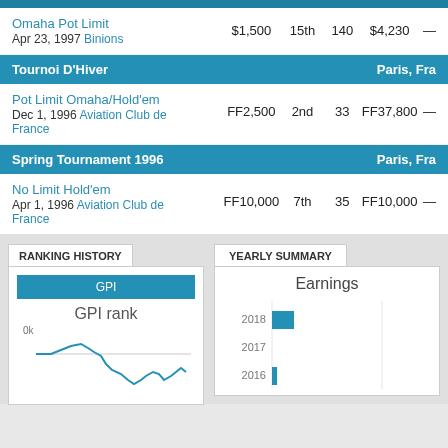| Event | Buy-in | Place | Entries | Winnings |  |
| --- | --- | --- | --- | --- | --- |
| Omaha Pot Limit
Apr 23, 1997 Binions | $1,500 | 15th | 140 | $4,230 | — |
Tournoi D'Hiver — Paris, Fra
| Event | Buy-in | Place | Entries | Winnings |  |
| --- | --- | --- | --- | --- | --- |
| Pot Limit Omaha/Hold'em
Dec 1, 1996 Aviation Club de France | FF2,500 | 2nd | 33 | FF37,800 | — |
Spring Tournament 1996 — Paris, Fra
| Event | Buy-in | Place | Entries | Winnings |  |
| --- | --- | --- | --- | --- | --- |
| No Limit Hold'em
Apr 1, 1996 Aviation Club de France | FF10,000 | 7th | 35 | FF10,000 | — |
RANKING HISTORY
[Figure (continuous-plot): GPI rank history line chart showing rank over time, with a peak and then decline. Y-axis labeled '0k', x-axis not labeled. Title: GPI rank.]
YEARLY SUMMARY
[Figure (bar-chart): Horizontal bar chart showing earnings by year. 2018 has a small bar, 2017 has none, 2016 has a very small bar.]